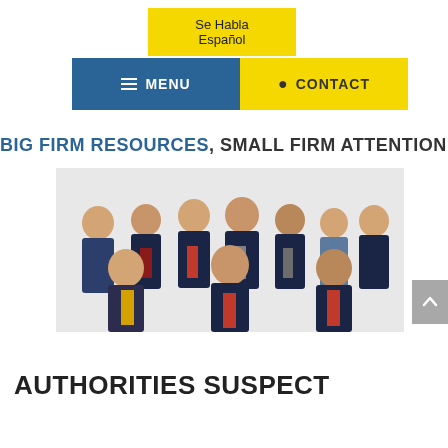Se Habla Español
☰ MENU
📍 CONTACT
BIG FIRM RESOURCES, SMALL FIRM ATTENTION
[Figure (photo): Group photo of law firm attorneys in professional business attire, 11 people arranged in two rows against a white background]
AUTHORITIES SUSPECT